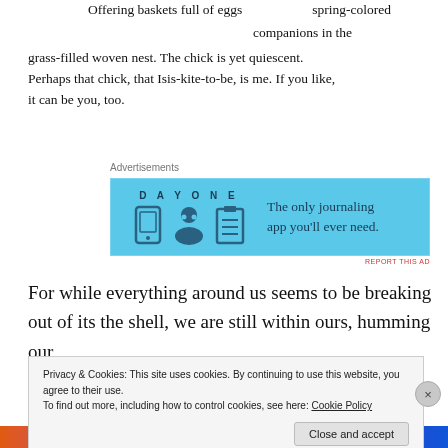Offering baskets full of eggs spring-colored companions in the grass-filled woven nest. The chick is yet quiescent. Perhaps that chick, that Isis-kite-to-be, is me. If you like, it can be you, too.
Advertisements
[Figure (other): Advertisement banner for DayOne journaling app with blue background showing icons and text: The only journaling app you'll ever need.]
For while everything around us seems to be breaking out of its the shell, we are still within ours, humming our
Privacy & Cookies: This site uses cookies. By continuing to use this website, you agree to their use.
To find out more, including how to control cookies, see here: Cookie Policy
Close and accept